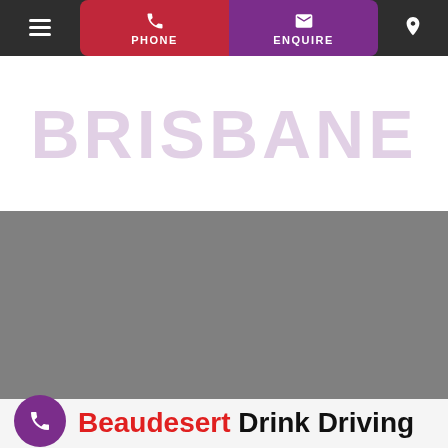Navigation bar with hamburger menu, PHONE button, ENQUIRE button, and location pin
BRISBANE
[Figure (map): Gray placeholder map area showing a regional map]
Beaudesert Drink Driving